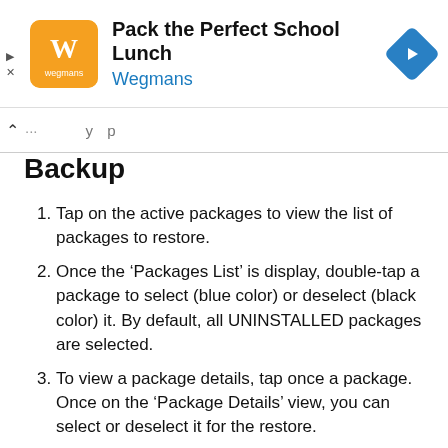[Figure (screenshot): Advertisement banner for 'Pack the Perfect School Lunch' by Wegmans with orange logo and blue navigation arrow icon]
^ ...  Backup
Tap on the active packages to view the list of packages to restore.
Once the ‘Packages List’ is display, double-tap a package to select (blue color) or deselect (black color) it. By default, all UNINSTALLED packages are selected.
To view a package details, tap once a package. Once on the ‘Package Details’ view, you can select or deselect it for the restore.
Navigate back to the main view, include or not your springboard layout and hit ‘Restore’.